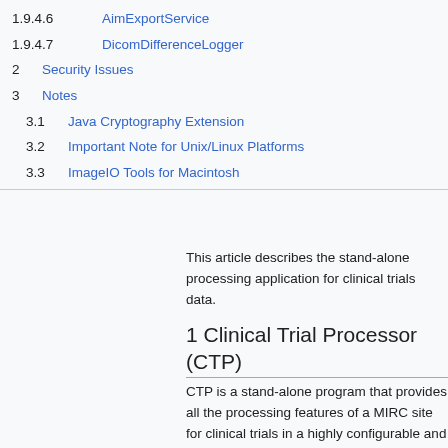1.9.4.6  AimExportService
1.9.4.7  DicomDifferenceLogger
2  Security Issues
3  Notes
3.1  Java Cryptography Extension
3.2  Important Note for Unix/Linux Platforms
3.3  ImageIO Tools for Macintosh
This article describes the stand-alone processing application for clinical trials data.
1 Clinical Trial Processor (CTP)
CTP is a stand-alone program that provides all the processing features of a MIRC site for clinical trials in a highly configurable and extensible application.